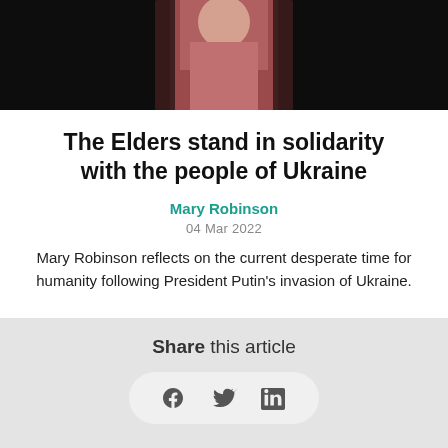[Figure (photo): Dark background photo of a person in a dark reddish/mauve jacket, partially visible from the torso up]
The Elders stand in solidarity with the people of Ukraine
Mary Robinson
04 Mar 2022
Mary Robinson reflects on the current desperate time for humanity following President Putin's invasion of Ukraine.
Share this article